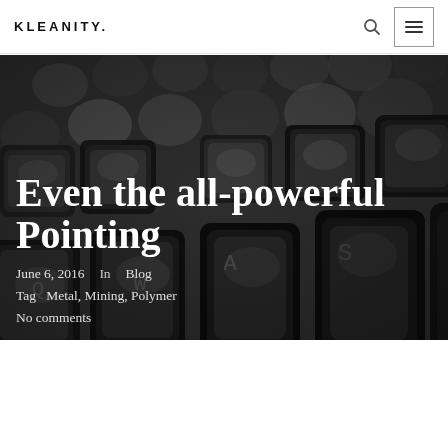KLEANITY.
[Figure (photo): Black and white close-up photograph of typewriter keys/keyboard with shallow depth of field]
Even the all-powerful Pointing
June 6, 2016   In   Blog
Tag   Metal, Mining, Polymer
No comments